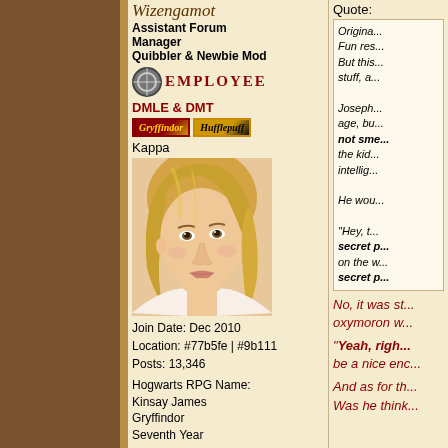Wizengamot
Assistant Forum Manager
Quibbler & Newbie Mod
EMPLOYEE
DMLE & DMT
Gryffindor | Hufflepuff
Kappa
[Figure (photo): Profile photo of a young blonde woman]
Join Date: Dec 2010
Location: #77b5fe | #9b111
Posts: 13,346
Hogwarts RPG Name:
Kinsay James
Gryffindor
Seventh Year
Hogwarts RPG Name:
Jasper Botros
Hufflepuff
Fifth Year
Ministry RPG Name:
Tomasz Łaska
Quote:
Originally posted by ...
Fun res...
But this...
stuff, a...
Joseph...
age, bu...
not sm...
the kid...
intelli...
He wou...
"Hey, t...
secret p...
on the w...
secret p...
No, it was st... oxymoron w...
"Yeah, righ... be a nice enc...
And as for th... Was he think...